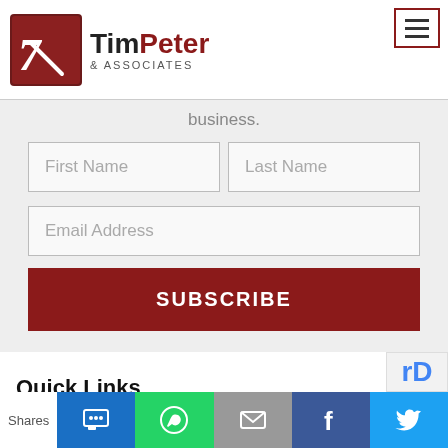TimPeter & Associates
business.
[Figure (screenshot): Email subscription form with First Name, Last Name, Email Address fields and a SUBSCRIBE button on grey background]
Quick Links
[Figure (infographic): Social share bar with SMS, WhatsApp, Email, Facebook, Twitter icons and Shares label]